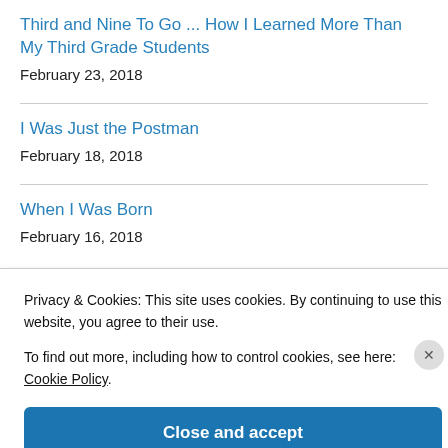Third and Nine To Go ... How I Learned More Than My Third Grade Students
February 23, 2018
I Was Just the Postman
February 18, 2018
When I Was Born
February 16, 2018
Privacy & Cookies: This site uses cookies. By continuing to use this website, you agree to their use.
To find out more, including how to control cookies, see here: Cookie Policy